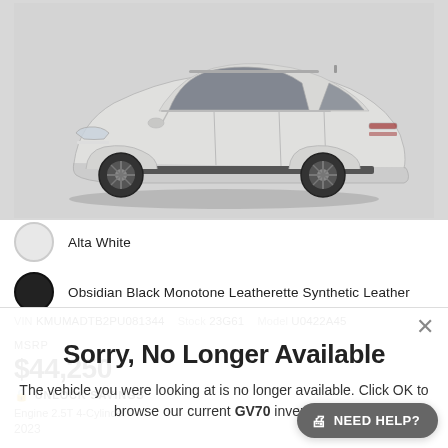[Figure (photo): Side profile of a white Genesis GV70 SUV on a light gray background]
Alta White
Obsidian Black Monotone Leatherette Synthetic Leather
VIN KMUMADTB2PU081344  Stock 23G61  Model U0422A45
MSRP
$44,250
UNLOCK SAVINGS
Engine 2.5T 4-Cylinder
Sorry, No Longer Available
The vehicle you were looking at is no longer available. Click OK to browse our current GV70 inventory.
2023